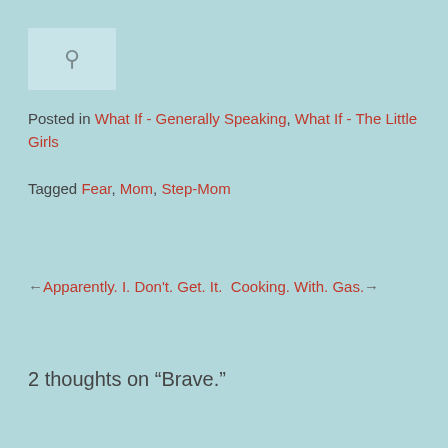[Figure (other): Link/chain icon inside a light blue-gray box]
Posted in What If - Generally Speaking, What If - The Little Girls
Tagged Fear, Mom, Step-Mom
← Apparently. I. Don't. Get. It.  Cooking. With. Gas. →
2 thoughts on “Brave.”